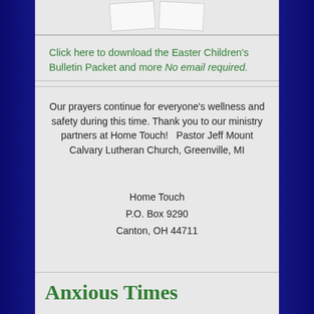[Figure (illustration): Two overlapping paper/document sheets on a light gray background]
Click here to download the Easter Children's Bulletin Packet and more No email required.
Our prayers continue for everyone's wellness and safety during this time. Thank you to our ministry partners at Home Touch!   Pastor Jeff Mount Calvary Lutheran Church, Greenville, MI
Home Touch
P.O. Box 9290
Canton, OH 44711
Anxious Times